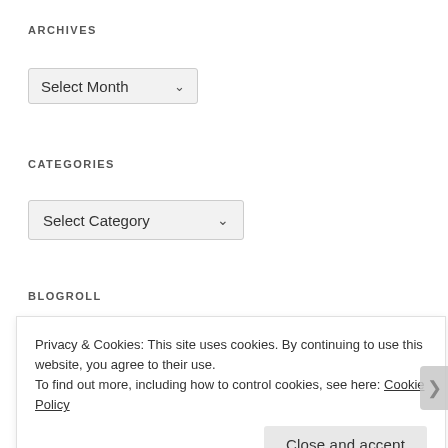ARCHIVES
Select Month
CATEGORIES
Select Category
BLOGROLL
Privacy & Cookies: This site uses cookies. By continuing to use this website, you agree to their use.
To find out more, including how to control cookies, see here: Cookie Policy
Close and accept